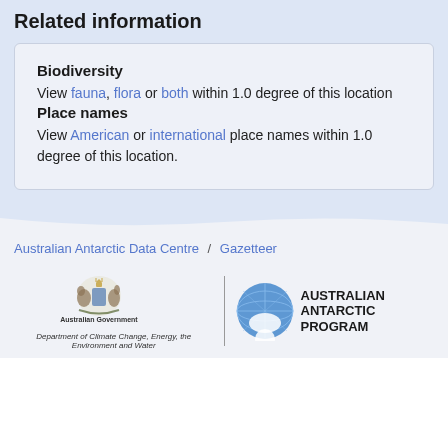Related information
Biodiversity
View fauna, flora or both within 1.0 degree of this location
Place names
View American or international place names within 1.0 degree of this location.
Australian Antarctic Data Centre / Gazetteer
[Figure (logo): Australian Government coat of arms logo with text 'Australian Government' and 'Department of Climate Change, Energy, the Environment and Water']
[Figure (logo): Australian Antarctic Program globe logo with text 'AUSTRALIAN ANTARCTIC PROGRAM']